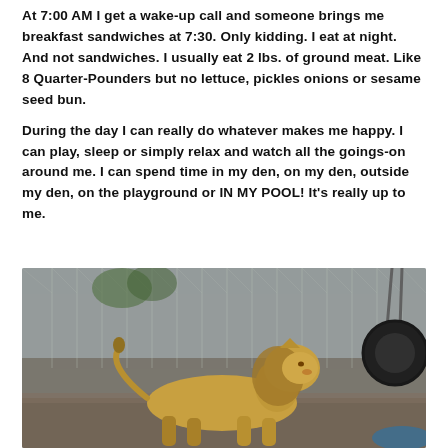At 7:00 AM I get a wake-up call and someone brings me breakfast sandwiches at 7:30. Only kidding. I eat at night. And not sandwiches. I usually eat 2 lbs. of ground meat. Like 8 Quarter-Pounders but no lettuce, pickles onions or sesame seed bun.
During the day I can really do whatever makes me happy. I can play, sleep or simply relax and watch all the goings-on around me. I can spend time in my den, on my den, outside my den, on the playground or IN MY POOL! It's really up to me.
[Figure (photo): A young lion walking inside a chain-link enclosure with a hanging tire swing visible on the right side.]